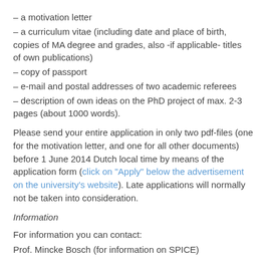– a motivation letter
– a curriculum vitae (including date and place of birth, copies of MA degree and grades, also -if applicable- titles of own publications)
– copy of passport
– e-mail and postal addresses of two academic referees
– description of own ideas on the PhD project of max. 2-3 pages (about 1000 words).
Please send your entire application in only two pdf-files (one for the motivation letter, and one for all other documents) before 1 June 2014 Dutch local time by means of the application form (click on "Apply" below the advertisement on the university's website). Late applications will normally not be taken into consideration.
Information
For information you can contact:
Prof. Mincke Bosch (for information on SPICE)